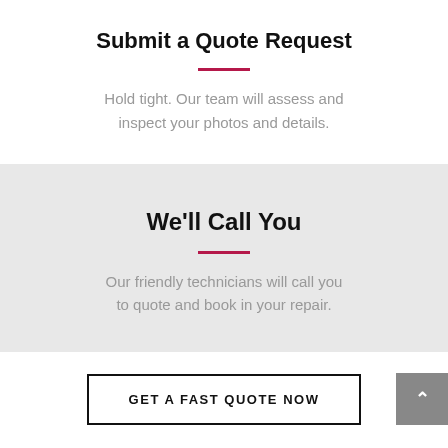Submit a Quote Request
Hold tight. Our team will assess and inspect your photos and details.
We'll Call You
Our friendly technicians will call you to quote and book in your repair.
GET A FAST QUOTE NOW